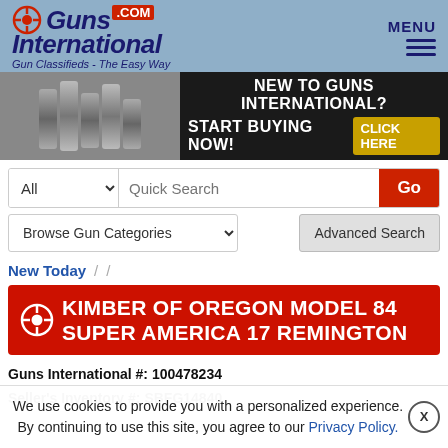[Figure (logo): Guns International .com logo with tagline 'Gun Classifieds - The Easy Way']
[Figure (infographic): Banner ad: 'NEW TO GUNS INTERNATIONAL? START BUYING NOW! CLICK HERE']
All | Quick Search | Go
Browse Gun Categories | Advanced Search
New Today / /
KIMBER OF OREGON MODEL 84 SUPER AMERICA 17 REMINGTON
Guns International #: 100478234
Seller's Inventory #: SBFG14840
We use cookies to provide you with a personalized experience. By continuing to use this site, you agree to our Privacy Policy.